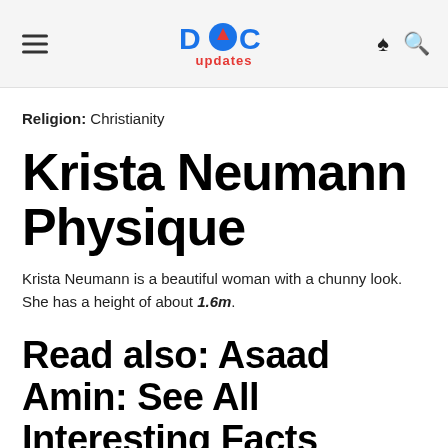DOC updates
Religion: Christianity
Krista Neumann Physique
Krista Neumann is a beautiful woman with a chunny look. She has a height of about 1.6m.
Read also: Asaad Amin: See All Interesting Facts